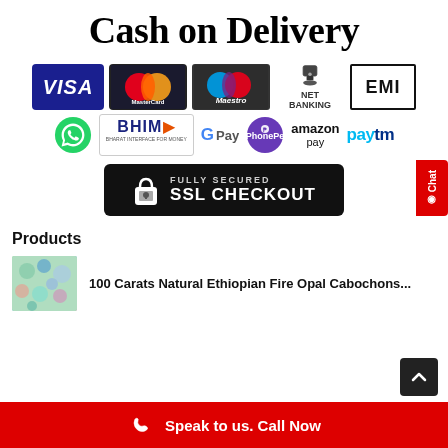Cash on Delivery
[Figure (logo): Payment method logos row 1: VISA, MasterCard, Maestro, NET BANKING, EMI]
[Figure (logo): Payment method logos row 2: WhatsApp, BHIM, Google Pay, PhonePe, Amazon Pay, Paytm]
[Figure (infographic): Fully Secured SSL Checkout badge with padlock icon on black background]
Products
[Figure (photo): Product thumbnail: colorful gemstone cabochons]
100 Carats Natural Ethiopian Fire Opal Cabochons...
Speak to us. Call Now